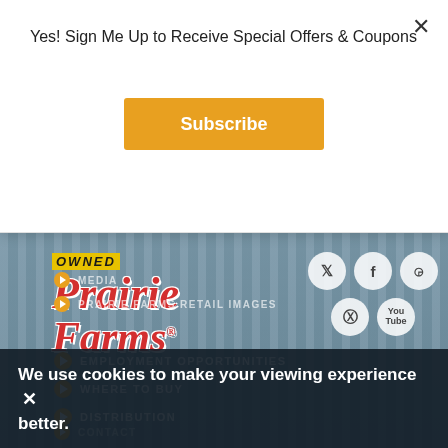Yes! Sign Me Up to Receive Special Offers & Coupons
Subscribe
[Figure (screenshot): Prairie Farms dairy website screenshot showing the Prairie Farms logo with 'OWNED' banner, social media icons for Twitter, Facebook, Instagram, Pinterest, and YouTube, and a blue wood-plank background with a hand/arm partially visible.]
EMPLOYMENT OPPORTUNITIES
WHERE TO BUY
DISTRIBUTION
CONTACT
MEDIA
PRAIRIE FARMS RETAIL IMAGES
We use cookies to make your viewing experience better.